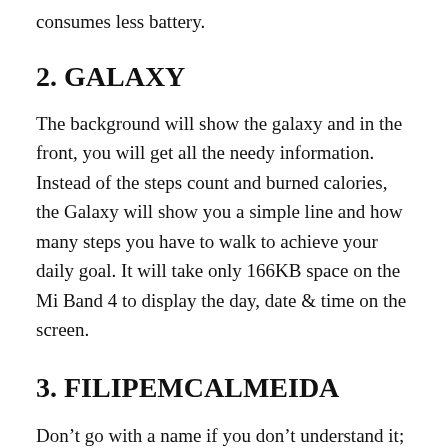consumes less battery.
2. GALAXY
The background will show the galaxy and in the front, you will get all the needy information. Instead of the steps count and burned calories, the Galaxy will show you a simple line and how many steps you have to walk to achieve your daily goal. It will take only 166KB space on the Mi Band 4 to display the day, date & time on the screen.
3. FILIPEMCALMEIDA
Don’t go with a name if you don’t understand it; it is the name of the author. Filipemcalmeida makes the best watch face on Mi Band 4 that gives options that you want. Get BPM, and steps count, calories burned and distance on the front screen. It has well-managed everything on the little display. Along with time, date